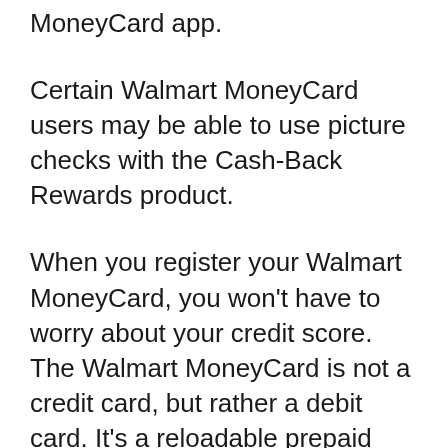MoneyCard app.
Certain Walmart MoneyCard users may be able to use picture checks with the Cash-Back Rewards product.
When you register your Walmart MoneyCard, you won't have to worry about your credit score. The Walmart MoneyCard is not a credit card, but rather a debit card. It's a reloadable prepaid card that has no bearing on your credit score.
Contact customer service if you need help registering or activating your Walmart MoneyCard. Before contacting them, go to the assistance desk. It gives targeted guidance and suggestions for a number of